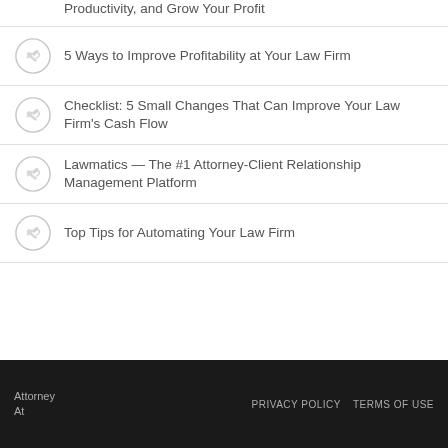Productivity, and Grow Your Profit
5 Ways to Improve Profitability at Your Law Firm
Checklist: 5 Small Changes That Can Improve Your Law Firm's Cash Flow
Lawmatics — The #1 Attorney-Client Relationship Management Platform
Top Tips for Automating Your Law Firm
Attorney At | PRIVACY POLICY | TERMS OF USE